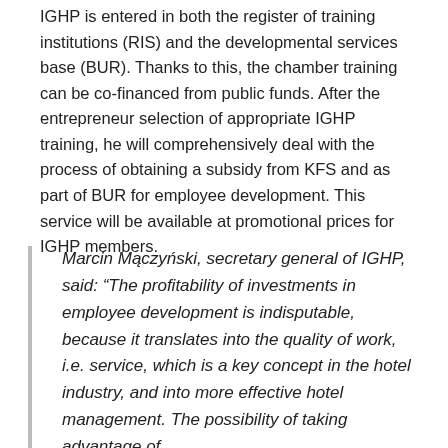IGHP is entered in both the register of training institutions (RIS) and the developmental services base (BUR). Thanks to this, the chamber training can be co-financed from public funds. After the entrepreneur selection of appropriate IGHP training, he will comprehensively deal with the process of obtaining a subsidy from KFS and as part of BUR for employee development. This service will be available at promotional prices for IGHP members.
Marcin Mączyński, secretary general of IGHP, said: “The profitability of investments in employee development is indisputable, because it translates into the quality of work, i.e. service, which is a key concept in the hotel industry, and into more effective hotel management. The possibility of taking advantage of ...